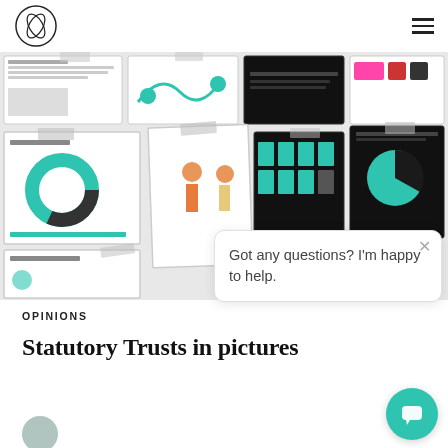Logo and navigation menu
[Figure (screenshot): Collage of multiple document pages related to statutory trusts, including infographics, diagrams, pie charts, and illustrated pages with teal/green color scheme and various text blocks.]
Got any questions? I'm happy to help.
OPINIONS
Statutory Trusts in pictures